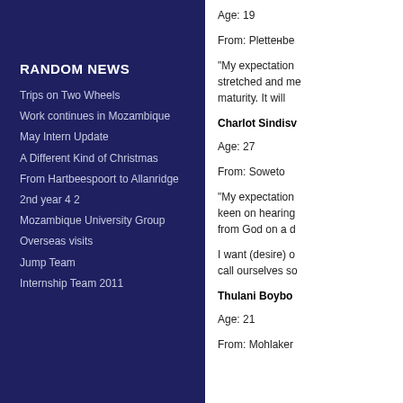RANDOM NEWS
Trips on Two Wheels
Work continues in Mozambique
May Intern Update
A Different Kind of Christmas
From Hartbeespoort to Allanridge
2nd year 4 2
Mozambique University Group
Overseas visits
Jump Team
Internship Team 2011
Age: 19
From: Plettenberg
“My expectation stretched and me maturity. It will
Charlot Sindisw
Age: 27
From: Soweto
“My expectation keen on hearing from God on a d
I want (desire) o call ourselves so
Thulani Boyboo
Age: 21
From: Mohlaker